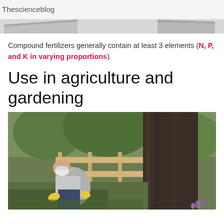Thescienceblog
[Figure (photo): Partial view of a plant or fertilizer-related image strip at top of page]
Compound fertilizers generally contain at least 3 elements (N, P, and K in varying proportions).
Use in agriculture and gardening
[Figure (photo): A man wearing a respirator mask and yellow gloves crouching near the base of a large tree, applying fertilizer or treatment to the ground. A wooden fence and green foliage are visible in the background.]